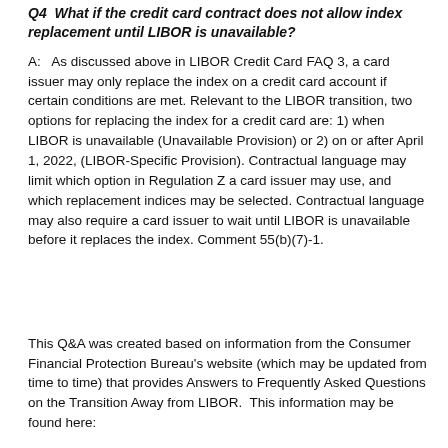Q4  What if the credit card contract does not allow index replacement until LIBOR is unavailable?
A:   As discussed above in LIBOR Credit Card FAQ 3, a card issuer may only replace the index on a credit card account if certain conditions are met. Relevant to the LIBOR transition, two options for replacing the index for a credit card are: 1) when LIBOR is unavailable (Unavailable Provision) or 2) on or after April 1, 2022, (LIBOR-Specific Provision). Contractual language may limit which option in Regulation Z a card issuer may use, and which replacement indices may be selected. Contractual language may also require a card issuer to wait until LIBOR is unavailable before it replaces the index. Comment 55(b)(7)-1.
This Q&A was created based on information from the Consumer Financial Protection Bureau's website (which may be updated from time to time) that provides Answers to Frequently Asked Questions on the Transition Away from LIBOR.  This information may be found here: